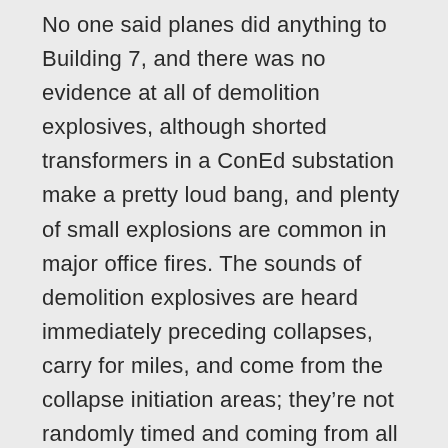No one said planes did anything to Building 7, and there was no evidence at all of demolition explosives, although shorted transformers in a ConEd substation make a pretty loud bang, and plenty of small explosions are common in major office fires. The sounds of demolition explosives are heard immediately preceding collapses, carry for miles, and come from the collapse initiation areas; they’re not randomly timed and coming from all over the place. When your only debris “evidence” is columns that were very obviously cut with